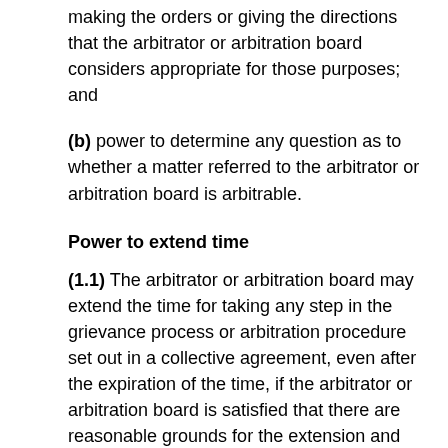(b) power to determine any question as to whether a matter referred to the arbitrator or arbitration board is arbitrable.
Power to extend time
(1.1) The arbitrator or arbitration board may extend the time for taking any step in the grievance process or arbitration procedure set out in a collective agreement, even after the expiration of the time, if the arbitrator or arbitration board is satisfied that there are reasonable grounds for the extension and that the other party would not be unduly prejudiced by the extension.
Power to mediate
(1.2) At any stage of a proceeding before an